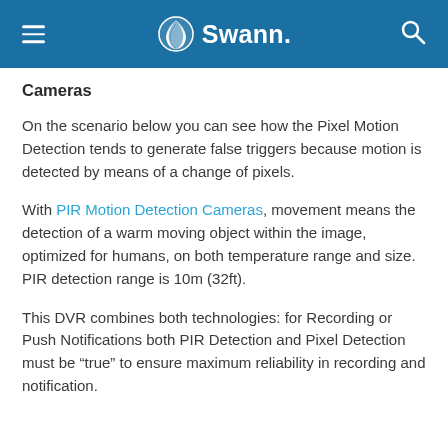Swann
Cameras
On the scenario below you can see how the Pixel Motion Detection tends to generate false triggers because motion is detected by means of a change of pixels.
With PIR Motion Detection Cameras, movement means the detection of a warm moving object within the image, optimized for humans, on both temperature range and size. PIR detection range is 10m (32ft).
This DVR combines both technologies: for Recording or Push Notifications both PIR Detection and Pixel Detection must be “true” to ensure maximum reliability in recording and notification.